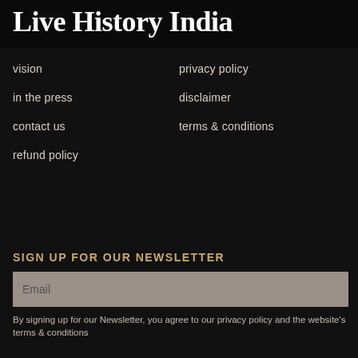Live History India
vision
privacy policy
in the press
disclaimer
contact us
terms & conditions
refund policy
SIGN UP FOR OUR NEWSLETTER
Email
By signing up for our Newsletter, you agree to our privacy policy and the website's terms & conditions